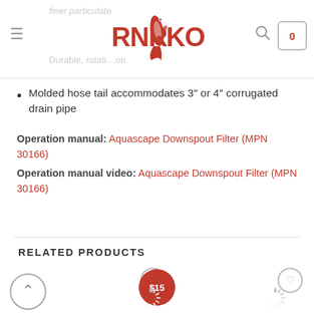RNR KOI — Navigation bar with logo, hamburger menu, search, and cart (0)
Molded hose tail accommodates 3″ or 4″ corrugated drain pipe
Operation manual: Aquascape Downspout Filter (MPN 30166)
Operation manual video: Aquascape Downspout Filter (MPN 30166)
RELATED PRODUCTS
[Figure (other): Related products row with two product cards showing heart/wishlist icons, a $15 price badge, a back-to-top arrow circle button, and loading spinner icons]